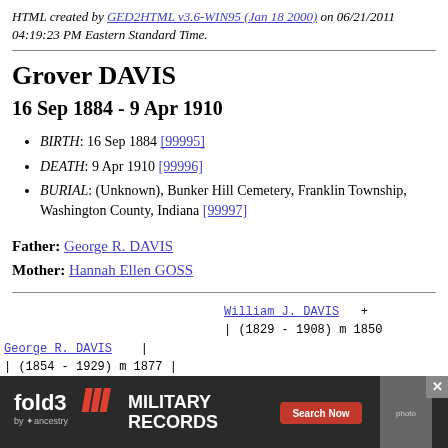HTML created by GED2HTML v3.6-WIN95 (Jan 18 2000) on 06/21/2011 04:19:23 PM Eastern Standard Time.
Grover DAVIS
16 Sep 1884 - 9 Apr 1910
BIRTH: 16 Sep 1884 [99995]
DEATH: 9 Apr 1910 [99996]
BURIAL: (Unknown), Bunker Hill Cemetery, Franklin Township, Washington County, Indiana [99997]
Father: George R. DAVIS
Mother: Hannah Ellen GOSS
[Figure (other): Genealogy tree diagram showing William J. DAVIS (1829-1908) m 1850, George R. DAVIS (1854-1929) m 1877, with an advertisement banner at the bottom for fold3 Military Records by Ancestry]